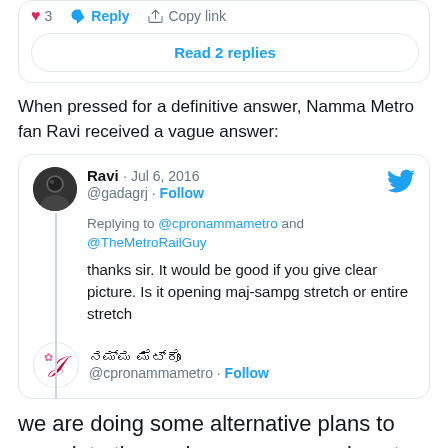[Figure (screenshot): Top portion of a tweet card showing heart icon with count 3, Reply button, Copy link button, and a 'Read 2 replies' button]
When pressed for a definitive answer, Namma Metro fan Ravi received a vague answer:
[Figure (screenshot): Tweet from Ravi (@gadagrj) on Jul 6, 2016, replying to @cpronammametro and @TheMetroRailGuy: 'thanks sir. It would be good if you give clear picture. Is it opening maj-sampg stretch or entire stretch'. Below is @cpronammametro with Kannada name and Follow button.]
we are doing some alternative plans to complete the work -we are as anxious to commence as you